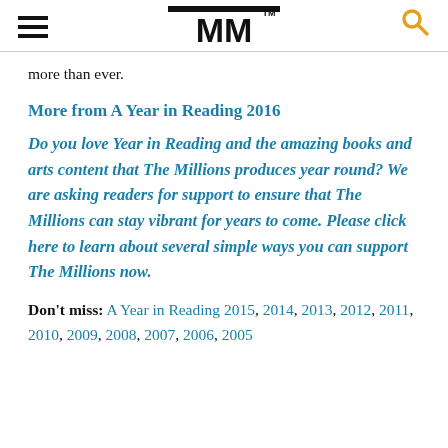MM
more than ever.
More from A Year in Reading 2016
Do you love Year in Reading and the amazing books and arts content that The Millions produces year round? We are asking readers for support to ensure that The Millions can stay vibrant for years to come. Please click here to learn about several simple ways you can support The Millions now.
Don't miss: A Year in Reading 2015, 2014, 2013, 2012, 2011, 2010, 2009, 2008, 2007, 2006, 2005